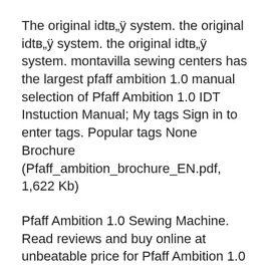The original idtв„ÿ system. the original idtв„ÿ system. the original idtв„ÿ system. montavilla sewing centers has the largest pfaff ambition 1.0 manual selection of Pfaff Ambition 1.0 IDT Instuction Manual; My tags Sign in to enter tags. Popular tags None Brochure (Pfaff_ambition_brochure_EN.pdf, 1,622 Kb)
Pfaff Ambition 1.0 Sewing Machine. Read reviews and buy online at unbeatable price for Pfaff Ambition 1.0 with free delivery only from SewingMachineSales.co.uk See what the top 10 features of the Pfaff Ambition 1.0 are! See what makes this sewing